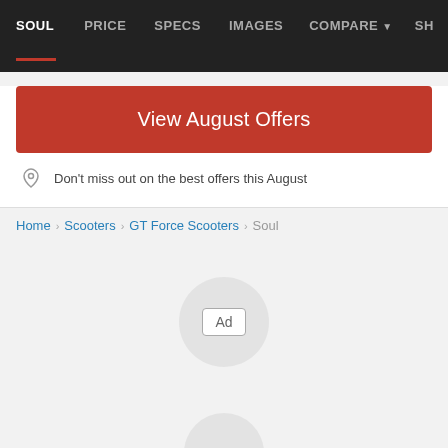SOUL | PRICE | SPECS | IMAGES | COMPARE | SH
View August Offers
Don't miss out on the best offers this August
Home > Scooters > GT Force Scooters > Soul
[Figure (other): Ad placeholder circle with 'Ad' label in center]
[Figure (other): Partial ad placeholder circle at bottom of page]